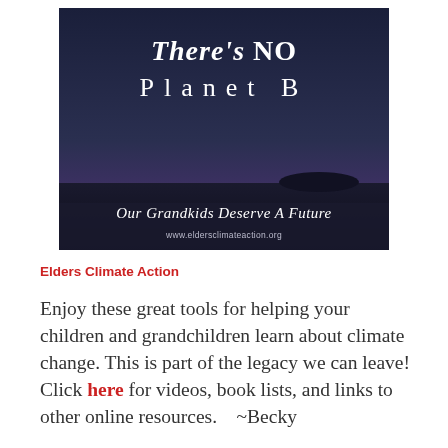[Figure (illustration): A dark navy/blue landscape image of a sunset with orange and yellow sky near the horizon and silhouetted flat terrain. White text overlay reads 'There's NO Planet B' at top, 'Our Grandkids Deserve A Future' in middle, and 'www.eldersclimateaction.org' at bottom.]
Elders Climate Action
Enjoy these great tools for helping your children and grandchildren learn about climate change. This is part of the legacy we can leave! Click here for videos, book lists, and links to other online resources.    ~Becky